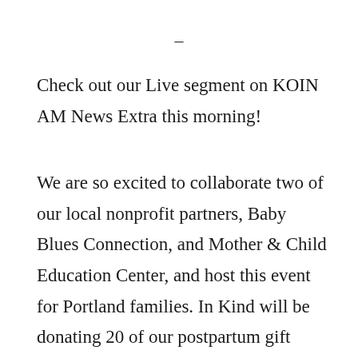–
Check out our Live segment on KOIN AM News Extra this morning!
We are so excited to collaborate two of our local nonprofit partners, Baby Blues Connection, and Mother & Child Education Center, and host this event for Portland families. In Kind will be donating 20 of our postpartum gift boxes to families who applied to participate in the event. Emails will be going